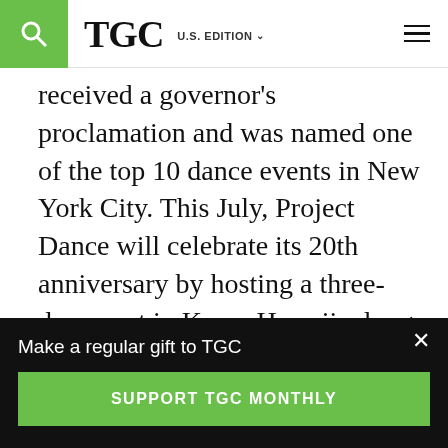TGC U.S. EDITION
received a governor's proclamation and was named one of the top 10 dance events in New York City. This July, Project Dance will celebrate its 20th anniversary by hosting a three-day event in Kona, Hawaii, along with a special four-day leaders' retreat. In every city, Cheryl's vision statement of “Bringing Hope and Healing to the City” is a constant theme.
After 15 years as a Radio City Rockette,
Make a regular gift to TGC
SUPPORT TGC MONTHLY